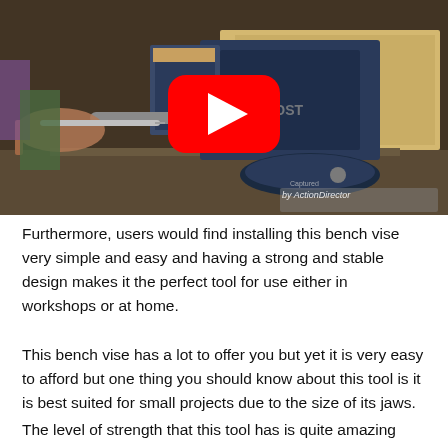[Figure (screenshot): Video thumbnail showing a blue Yost bench vise being used in a workshop setting, with a YouTube play button overlay and 'ActionDirector' watermark in the bottom right corner.]
Furthermore, users would find installing this bench vise very simple and easy and having a strong and stable design makes it the perfect tool for use either in workshops or at home.
This bench vise has a lot to offer you but yet it is very easy to afford but one thing you should know about this tool is it is best suited for small projects due to the size of its jaws.
The level of strength that this tool has is quite amazing and